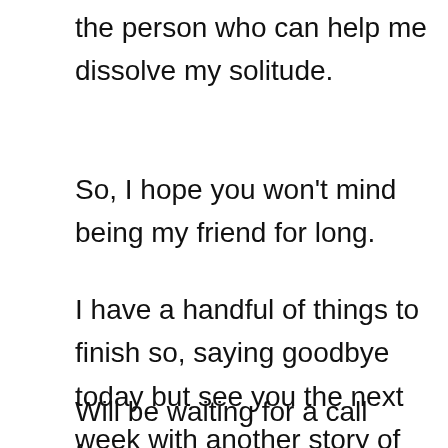the person who can help me dissolve my solitude.
So, I hope you won't mind being my friend for long.
I have a handful of things to finish so, saying goodbye today but see you the next week with another story of my life, face to face.
Will be waiting for a call from you.